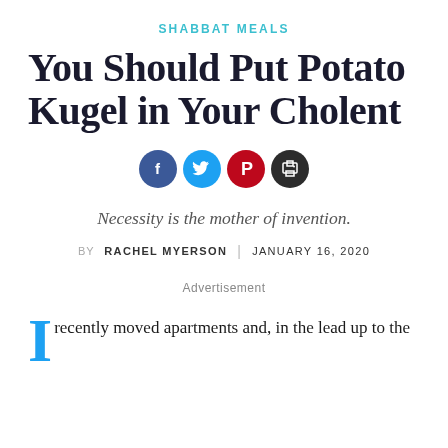SHABBAT MEALS
You Should Put Potato Kugel in Your Cholent
[Figure (infographic): Four social sharing icon circles: Facebook (blue), Twitter (light blue), Pinterest (red), Print (dark)]
Necessity is the mother of invention.
BY RACHEL MYERSON | JANUARY 16, 2020
Advertisement
I recently moved apartments and, in the lead up to the